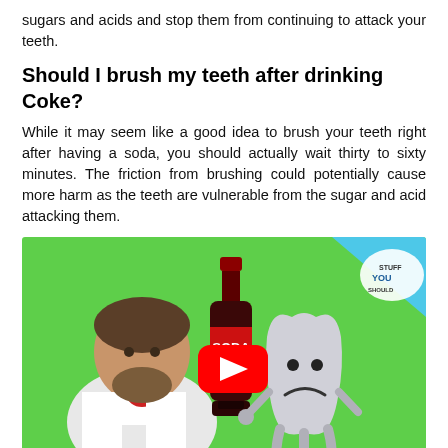sugars and acids and stop them from continuing to attack your teeth.
Should I brush my teeth after drinking Coke?
While it may seem like a good idea to brush your teeth right after having a soda, you should actually wait thirty to sixty minutes. The friction from brushing could potentially cause more harm as the teeth are vulnerable from the sugar and acid attacking them.
[Figure (screenshot): YouTube video thumbnail showing a man in a white lab coat on a green background, next to a soda bottle and a sad tooth cartoon character, with a red YouTube play button in the center and a 'Stuff You Should Know' logo in the upper right corner.]